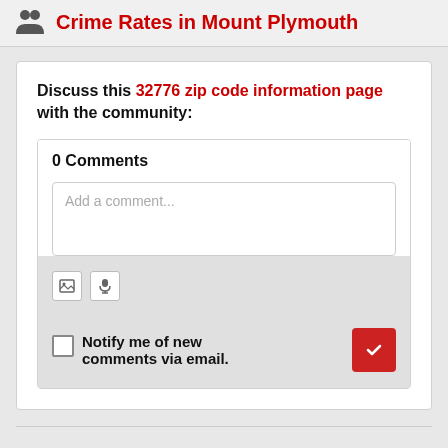Crime Rates in Mount Plymouth
Discuss this 32776 zip code information page with the community:
0 Comments
Add a comment...
Notify me of new comments via email.